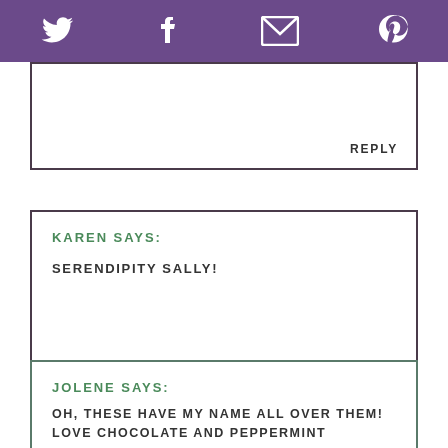[Twitter] [Facebook] [Email] [Pinterest]
REPLY
KAREN SAYS:

SERENDIPITY SALLY!
JOLENE SAYS:

OH, THESE HAVE MY NAME ALL OVER THEM! LOVE CHOCOLATE AND PEPPERMINT TOGETHER!